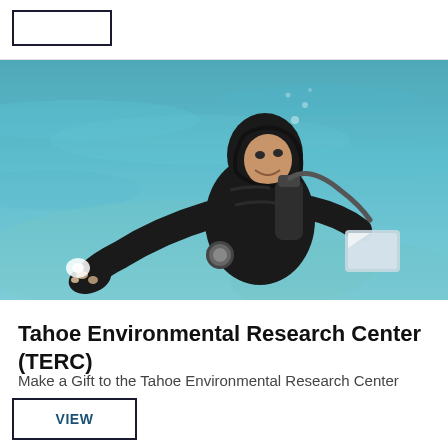[Figure (photo): Diver in black wetsuit and hood standing in clear turquoise water, holding out hand with small objects, carrying a camera and equipment]
Tahoe Environmental Research Center (TERC)
Make a Gift to the Tahoe Environmental Research Center